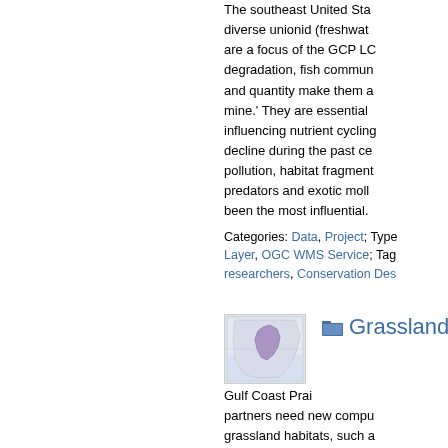The southeast United States has the most diverse unionid (freshwater mussels)... are a focus of the GCP LCC... degradation, fish communities... and quantity make them a... mine.' They are essential... influencing nutrient cycling... decline during the past century... pollution, habitat fragmentation... predators and exotic mollusks have been the most influential.
Categories: Data, Project; Type: Layer, OGC WMS Service; Tags: researchers, Conservation Des...
[Figure (map): Small thumbnail map showing a geographic region with purple/violet shading indicating a specific area]
Grassland
Gulf Coast Prairie partners need new computational tools to assess grassland habitats, such as fragmentation, affecting L... bobwhite and eastern meadowlarks... determine the best places for conserving and restoring grasslands to benefit populations.